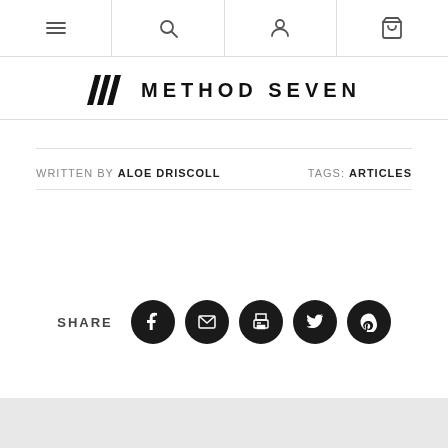Navigation bar with menu, search, account, and cart icons
METHOD SEVEN
WRITTEN BY ALOE DRISCOLL   TAGS: ARTICLES
SHARE
[Figure (infographic): Five social share icons: Facebook, Email, Print, Twitter, Pinterest]